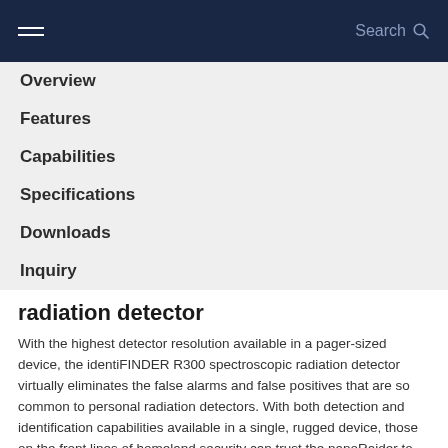Search
Overview
Features
Capabilities
Specifications
Downloads
Inquiry
radiation detector
With the highest detector resolution available in a pager-sized device, the identiFINDER R300 spectroscopic radiation detector virtually eliminates the false alarms and false positives that are so common to personal radiation detectors. With both detection and identification capabilities available in a single, rugged device, those on the front lines of homeland security can trust the nanoRaider to make their job easier.